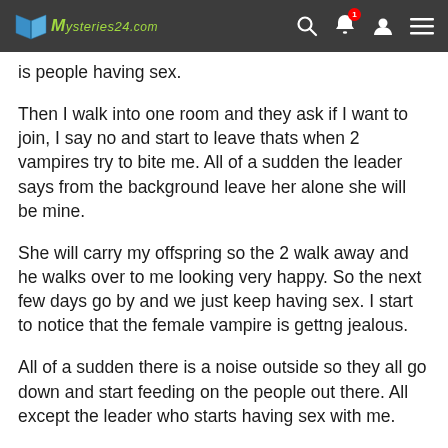Mysteries24.com
is people having sex.
Then I walk into one room and they ask if I want to join, I say no and start to leave thats when 2 vampires try to bite me. All of a sudden the leader says from the background leave her alone she will be mine.
She will carry my offspring so the 2 walk away and he walks over to me looking very happy. So the next few days go by and we just keep having sex. I start to notice that the female vampire is gettng jealous.
All of a sudden there is a noise outside so they all go down and start feeding on the people out there. All except the leader who starts having sex with me.